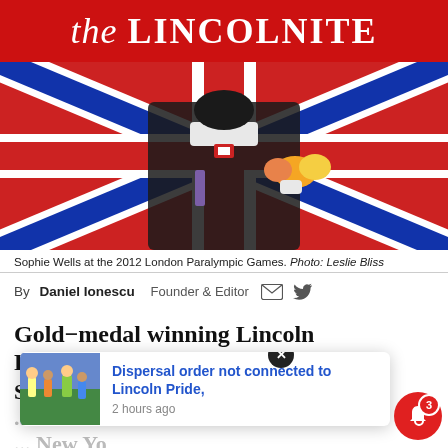the LINCOLNITE
[Figure (photo): Sophie Wells holding bouquet of flowers, wearing black equestrian jacket with GB emblem, Union Jack flag in background at 2012 London Paralympic Games]
Sophie Wells at the 2012 London Paralympic Games. Photo: Leslie Bliss
By Daniel Ionescu  Founder & Editor
Gold-medal winning Lincoln Paralympian Sophie Wells and Bishop Grosseteste ... Robinson ... New York
Dispersal order not connected to Lincoln Pride,
2 hours ago
Honours list